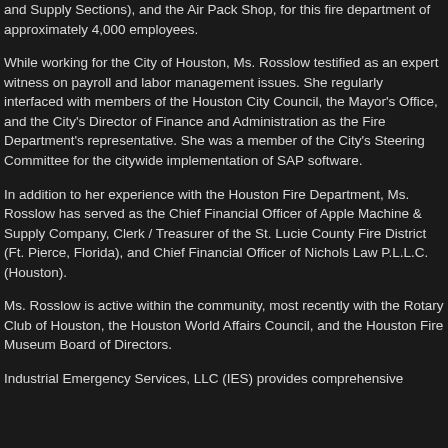and Supply Sections), and the Air Pack Shop, for this fire department of approximately 4,000 employees.
While working for the City of Houston, Ms. Rosslow testified as an expert witness on payroll and labor management issues. She regularly interfaced with members of the Houston City Council, the Mayor's Office, and the City's Director of Finance and Administration as the Fire Department's representative. She was a member of the City's Steering Committee for the citywide implementation of SAP software.
In addition to her experience with the Houston Fire Department, Ms. Rosslow has served as the Chief Financial Officer of Apple Machine & Supply Company, Clerk / Treasurer of the St. Lucie County Fire District (Ft. Pierce, Florida), and Chief Financial Officer of Nichols Law P.L.L.C. (Houston).
Ms. Rosslow is active within the community, most recently with the Rotary Club of Houston, the Houston World Affairs Council, and the Houston Fire Museum Board of Directors.
Industrial Emergency Services, LLC (IES) provides comprehensive